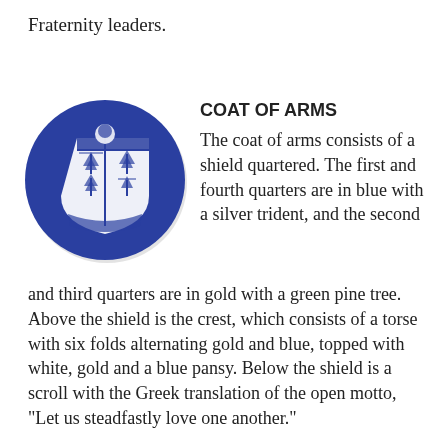Fraternity leaders.
[Figure (illustration): Blue circular emblem containing a heraldic shield quartered with trees and other symbols, with a banner below, representing a fraternity coat of arms.]
COAT OF ARMS
The coat of arms consists of a shield quartered. The first and fourth quarters are in blue with a silver trident, and the second and third quarters are in gold with a green pine tree. Above the shield is the crest, which consists of a torse with six folds alternating gold and blue, topped with white, gold and a blue pansy. Below the shield is a scroll with the Greek translation of the open motto, "Let us steadfastly love one another."